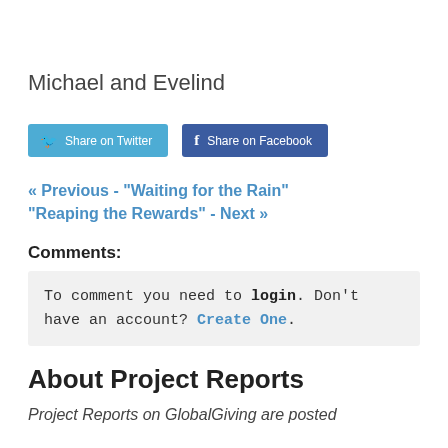Michael and Evelind
[Figure (other): Share on Twitter and Share on Facebook social media buttons]
« Previous - "Waiting for the Rain" "Reaping the Rewards" - Next »
Comments:
To comment you need to login. Don't have an account? Create One.
About Project Reports
Project Reports on GlobalGiving are posted